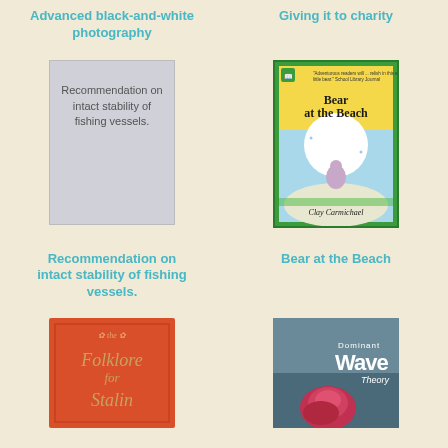Advanced black-and-white photography
Giving it to charity
[Figure (illustration): Gray placeholder book cover with text: Recommendation on intact stability of fishing vessels.]
[Figure (photo): Book cover: Bear at the Beach by Clay Carmichael. Green border, yellow sky, bear sitting on a sand hill under a large white moon.]
Recommendation on intact stability of fishing vessels.
Bear at the Beach
[Figure (photo): Red/orange book cover: Folklore for Stalin]
[Figure (photo): Book cover: Dominant Wave Theory with image of a rose and ocean]